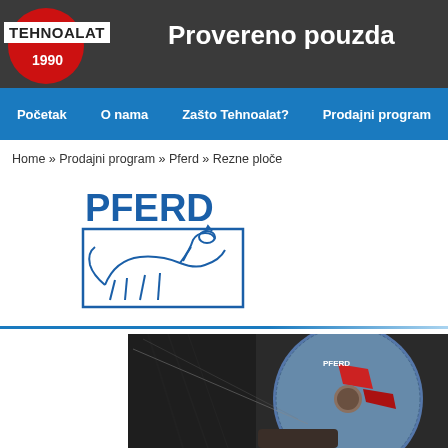TEHNOALAT 1990 — Provereno pouzda
Početak
O nama
Zašto Tehnoalat?
Prodajni program
Home » Prodajni program » Pferd » Rezne ploče
[Figure (logo): PFERD logo with horse illustration inside a square border and PFERD text in blue above]
[Figure (photo): Close-up photo of a PFERD cutting/grinding disc being used, showing the blue abrasive wheel with red stripe detail against a dark blurred metal background]